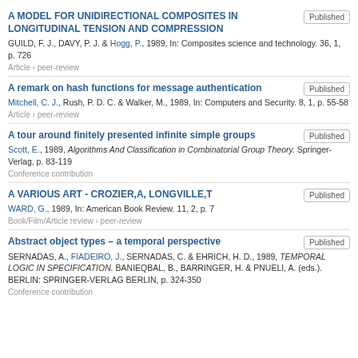A MODEL FOR UNIDIRECTIONAL COMPOSITES IN LONGITUDINAL TENSION AND COMPRESSION
GUILD, F. J., DAVY, P. J. & Hogg, P., 1989, In: Composites science and technology. 36, 1, p. 726
Article › peer-review
A remark on hash functions for message authentication
Mitchell, C. J., Rush, P. D. C. & Walker, M., 1989, In: Computers and Security. 8, 1, p. 55-58
Article › peer-review
A tour around finitely presented infinite simple groups
Scott, E., 1989, Algorithms And Classification in Combinatorial Group Theory. Springer-Verlag, p. 83-119
Conference contribution
A VARIOUS ART - CROZIER,A, LONGVILLE,T
WARD, G., 1989, In: American Book Review. 11, 2, p. 7
Book/Film/Article review › peer-review
Abstract object types – a temporal perspective
SERNADAS, A., FIADEIRO, J., SERNADAS, C. & EHRICH, H. D., 1989, TEMPORAL LOGIC IN SPECIFICATION. BANIEQBAL, B., BARRINGER, H. & PNUELI, A. (eds.). BERLIN: SPRINGER-VERLAG BERLIN, p. 324-350
Conference contribution